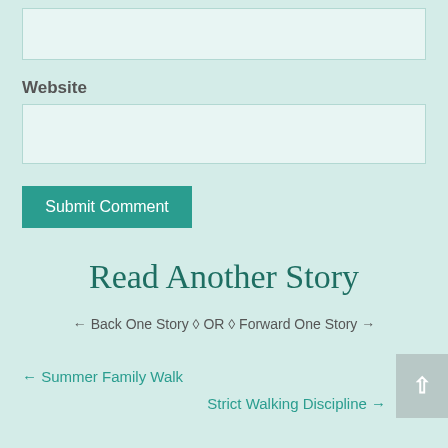[Figure (other): Empty input text field at the top of the page]
Website
[Figure (other): Website input text field]
Submit Comment
Read Another Story
← Back One Story ◊ OR ◊ Forward One Story →
← Summer Family Walk
Strict Walking Discipline →